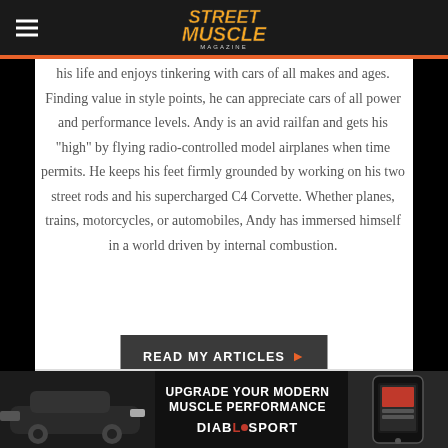Street Muscle Magazine
his life and enjoys tinkering with cars of all makes and ages. Finding value in style points, he can appreciate cars of all power and performance levels. Andy is an avid railfan and gets his “high” by flying radio-controlled model airplanes when time permits. He keeps his feet firmly grounded by working on his two street rods and his supercharged C4 Corvette. Whether planes, trains, motorcycles, or automobiles, Andy has immersed himself in a world driven by internal combustion.
[Figure (other): READ MY ARTICLES button with orange arrow]
[Figure (other): Diablosport advertisement banner: Upgrade Your Modern Muscle Performance with car image on left and phone/device on right]